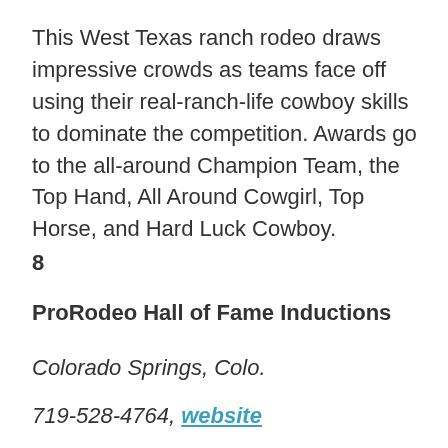This West Texas ranch rodeo draws impressive crowds as teams face off using their real-ranch-life cowboy skills to dominate the competition. Awards go to the all-around Champion Team, the Top Hand, All Around Cowgirl, Top Horse, and Hard Luck Cowboy.
8
ProRodeo Hall of Fame Inductions
Colorado Springs, Colo.
719-528-4764, website